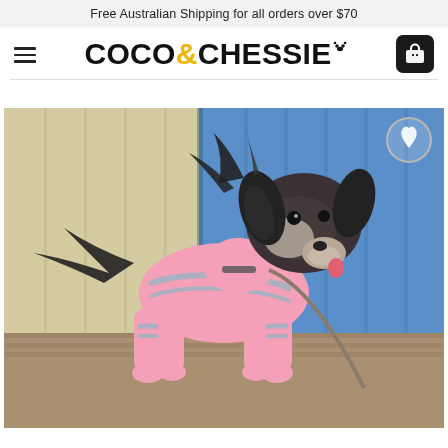Free Australian Shipping for all orders over $70
[Figure (logo): Coco & Chessie brand logo with paw print icon and shopping cart button]
[Figure (photo): Small black and white dog wearing a pink tracksuit/onesie with grey stripes, standing outdoors in front of blue and cream wooden wall panels]